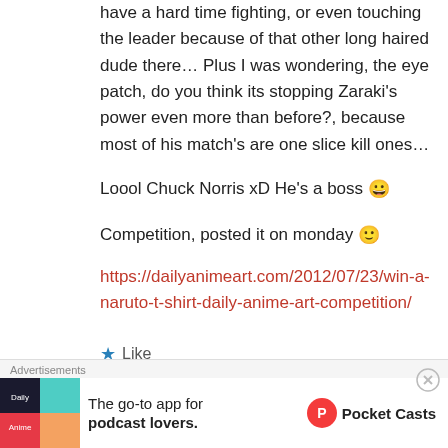have a hard time fighting, or even touching the leader because of that other long haired dude there… Plus I was wondering, the eye patch, do you think its stopping Zaraki's power even more than before?, because most of his match's are one slice kill ones…
Loool Chuck Norris xD He's a boss 😀
Competition, posted it on monday 🙂
https://dailyanimeart.com/2012/07/23/win-a-naruto-t-shirt-daily-anime-art-competition/
★ Like
Advertisements
The go-to app for podcast lovers.
Pocket Casts